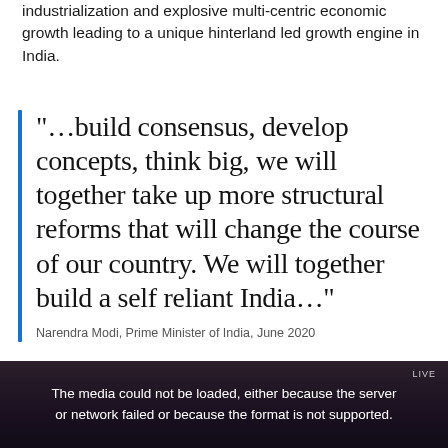industrialization and explosive multi-centric economic growth leading to a unique hinterland led growth engine in India.
“…build consensus, develop concepts, think big, we will together take up more structural reforms that will change the course of our country. We will together build a self reliant India…”
Narendra Modi, Prime Minister of India, June 2020
[Figure (screenshot): Dark video player screenshot showing a media error message: 'The media could not be loaded, either because the server or network failed or because the format is not supported.' with a LIVE badge in the top right corner.]